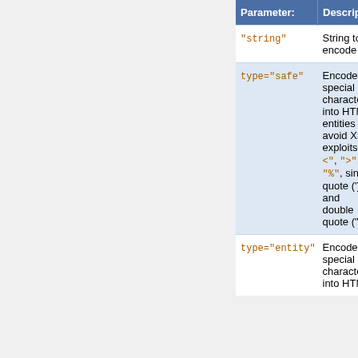| Parameter: | Description: |
| --- | --- |
| "string" | String to encode |
| type="safe" | Encode special characters into HTML entities to avoid XSS exploits: "<", ">", "%", single quote (') and double quote (") |
| type="entity" | Encode special characters into HTML |